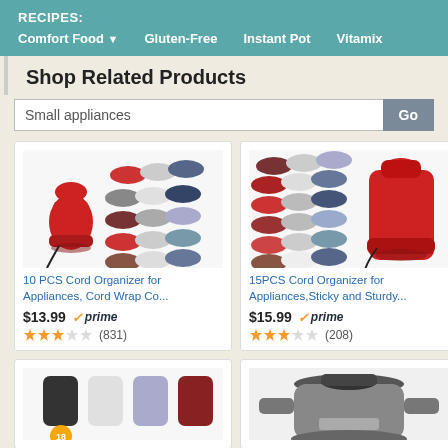RECIPES:
Comfort Food ▾
Gluten-Free
Instant Pot
Vitamix
Shop Related Products
Small appliances [search box] Go
[Figure (photo): 10 PCS Cord Organizer for Appliances with a red KitchenAid mixer and cord wraps in various colors]
10 PCS Cord Organizer for Appliances, Cord Wrap Co...
$13.99 ✓prime ★★★☆☆ (831)
[Figure (photo): 15PCS Cord Organizer for Appliances, Sticky and Sturdy, with a red KitchenAid mixer and cord wraps]
15PCS Cord Organizer for Appliances,Sticky and Sturdy...
$15.99 ✓prime ★★★☆☆ (208)
[Figure (photo): Partial view of cord organizer product with multiple colors]
[Figure (photo): Partial view of a large stainless steel slow cooker or rice cooker appliance]